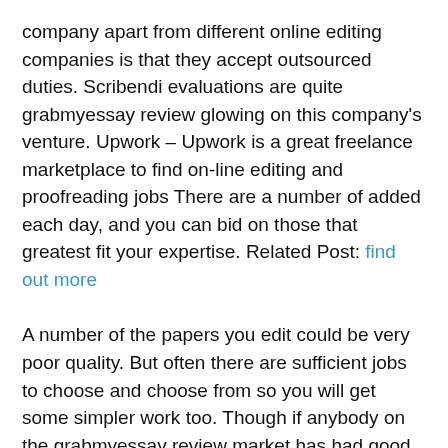company apart from different online editing companies is that they accept outsourced duties. Scribendi evaluations are quite grabmyessay review glowing on this company's venture. Upwork – Upwork is a great freelance marketplace to find on-line editing and proofreading jobs There are a number of added each day, and you can bid on those that greatest fit your expertise. Related Post: find out more
A number of the papers you edit could be very poor quality. But often there are sufficient jobs to choose and choose from so you will get some simpler work too. Though if anybody on the grabmyessay review market has had good experiences with them, I'd like to hear about it. Regardless of my 15+ attempts, thus far all my